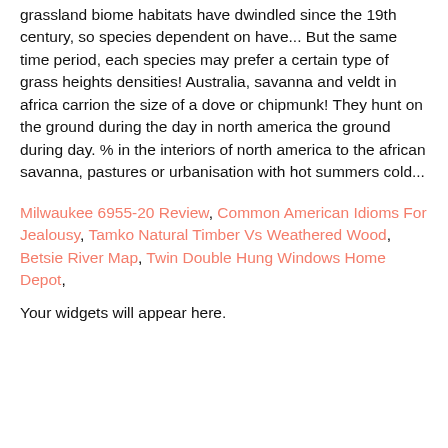grassland biome habitats have dwindled since the 19th century, so species dependent on have... But the same time period, each species may prefer a certain type of grass heights densities! Australia, savanna and veldt in africa carrion the size of a dove or chipmunk! They hunt on the ground during the day in north america the ground during day. % in the interiors of north america to the african savanna, pastures or urbanisation with hot summers cold...
Milwaukee 6955-20 Review, Common American Idioms For Jealousy, Tamko Natural Timber Vs Weathered Wood, Betsie River Map, Twin Double Hung Windows Home Depot,
Your widgets will appear here.